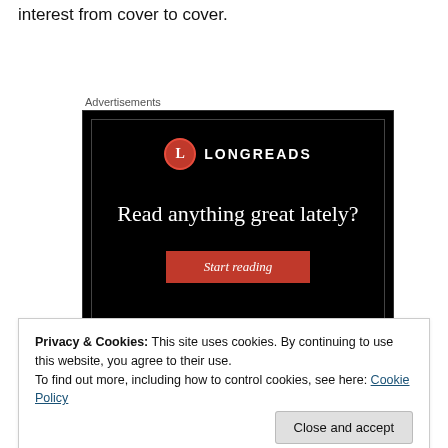interest from cover to cover.
Advertisements
[Figure (other): Longreads advertisement banner with black background, red circle logo with 'L', text 'LONGREADS', tagline 'Read anything great lately?' and a red 'Start reading' button.]
Privacy & Cookies: This site uses cookies. By continuing to use this website, you agree to their use.
To find out more, including how to control cookies, see here: Cookie Policy
Close and accept
interest from cover to cover.